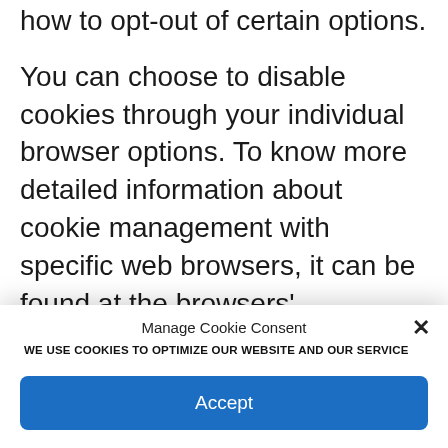how to opt-out of certain options.
You can choose to disable cookies through your individual browser options. To know more detailed information about cookie management with specific web browsers, it can be found at the browsers' respective websites.
CCPA Privacy Rights
Manage Cookie Consent
WE USE COOKIES TO OPTIMIZE OUR WEBSITE AND OUR SERVICE
Accept
Cookie Policy